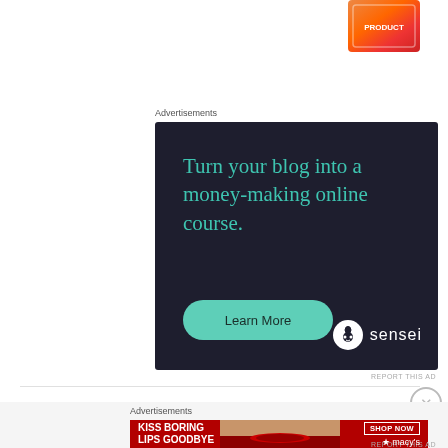[Figure (illustration): Partial product image in top right corner, colorful snack/candy package]
Advertisements
[Figure (illustration): Sensei advertisement: dark navy background with teal text reading 'Turn your blog into a money-making online course.' with a teal 'Learn More' button and Sensei logo at bottom right]
REPORT THIS AD
Advertisements
[Figure (illustration): Macy's advertisement: red background with white bold text 'KISS BORING LIPS GOODBYE', woman's face with red lips, 'SHOP NOW' button and Macy's star logo]
REPORT THIS AD